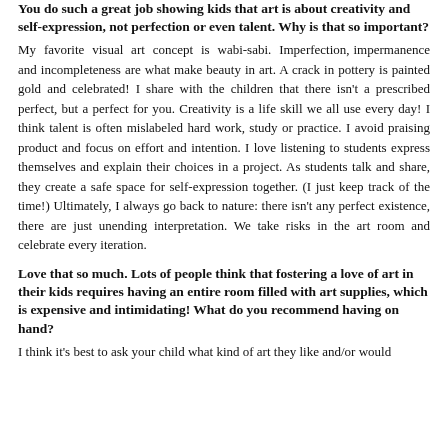You do such a great job showing kids that art is about creativity and self-expression, not perfection or even talent. Why is that so important?
My favorite visual art concept is wabi-sabi. Imperfection, impermanence and incompleteness are what make beauty in art. A crack in pottery is painted gold and celebrated! I share with the children that there isn't a prescribed perfect, but a perfect for you. Creativity is a life skill we all use every day! I think talent is often mislabeled hard work, study or practice. I avoid praising product and focus on effort and intention. I love listening to students express themselves and explain their choices in a project. As students talk and share, they create a safe space for self-expression together. (I just keep track of the time!) Ultimately, I always go back to nature: there isn't any perfect existence, there are just unending interpretation. We take risks in the art room and celebrate every iteration.
Love that so much. Lots of people think that fostering a love of art in their kids requires having an entire room filled with art supplies, which is expensive and intimidating! What do you recommend having on hand?
I think it's best to ask your child what kind of art they like and/or would